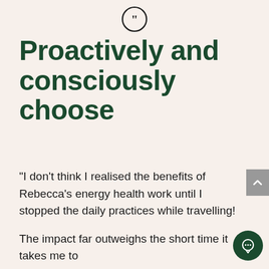[Figure (illustration): Circular quote icon with double closing quotation marks inside a circle, dark outline on light background]
Proactively and consciously choose
“I don’t think I realised the benefits of Rebecca’s energy health work until I stopped the daily practices while travelling!

The impact far outweighs the short time it takes me to